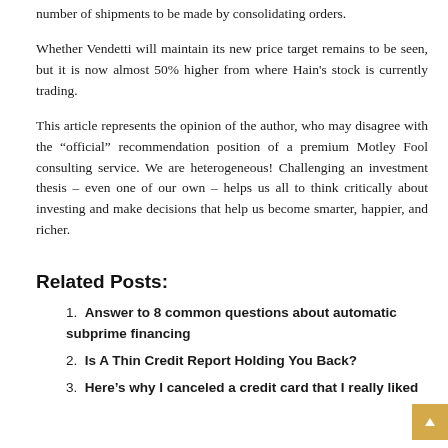number of shipments to be made by consolidating orders.
Whether Vendetti will maintain its new price target remains to be seen, but it is now almost 50% higher from where Hain's stock is currently trading.
This article represents the opinion of the author, who may disagree with the “official” recommendation position of a premium Motley Fool consulting service. We are heterogeneous! Challenging an investment thesis – even one of our own – helps us all to think critically about investing and make decisions that help us become smarter, happier, and richer.
Related Posts:
Answer to 8 common questions about automatic subprime financing
Is A Thin Credit Report Holding You Back?
Here’s why I canceled a credit card that I really liked